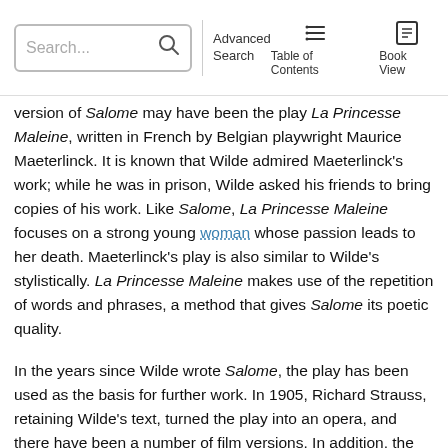Search... Advanced Search Table of Contents Book View
version of Salome may have been the play La Princesse Maleine, written in French by Belgian playwright Maurice Maeterlinck. It is known that Wilde admired Maeterlinck's work; while he was in prison, Wilde asked his friends to bring copies of his work. Like Salome, La Princesse Maleine focuses on a strong young woman whose passion leads to her death. Maeterlinck's play is also similar to Wilde's stylistically. La Princesse Maleine makes use of the repetition of words and phrases, a method that gives Salome its poetic quality.
In the years since Wilde wrote Salome, the play has been used as the basis for further work. In 1905, Richard Strauss, retaining Wilde's text, turned the play into an opera, and there have been a number of film versions. In addition, the play itself has been revived many times and continues to be produced today. Once controversial and